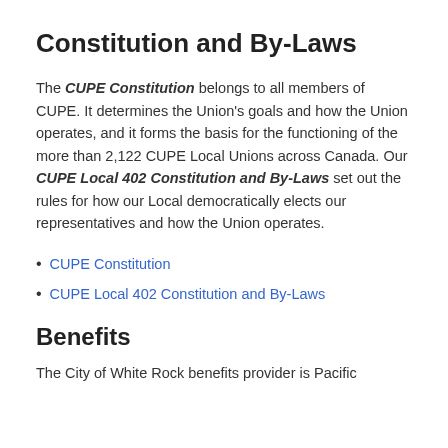Constitution and By-Laws
The CUPE Constitution belongs to all members of CUPE. It determines the Union's goals and how the Union operates, and it forms the basis for the functioning of the more than 2,122 CUPE Local Unions across Canada. Our CUPE Local 402 Constitution and By-Laws set out the rules for how our Local democratically elects our representatives and how the Union operates.
CUPE Constitution
CUPE Local 402 Constitution and By-Laws
Benefits
The City of White Rock benefits provider is Pacific